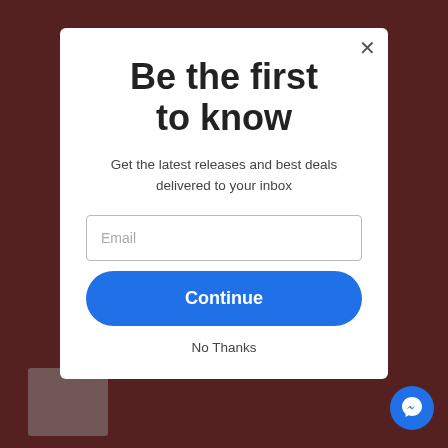[Figure (screenshot): Dark reddish-brown webpage background with overlay]
Be the first to know
Get the latest releases and best deals delivered to your inbox
Email
Continue
No Thanks